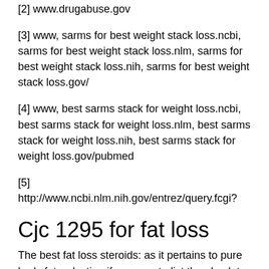[2] www.drugabuse.gov
[3] www, sarms for best weight stack loss.ncbi, sarms for best weight stack loss.nlm, sarms for best weight stack loss.nih, sarms for best weight stack loss.gov/
[4] www, best sarms stack for weight loss.ncbi, best sarms stack for weight loss.nlm, best sarms stack for weight loss.nih, best sarms stack for weight loss.gov/pubmed
[5] http://www.ncbi.nlm.nih.gov/entrez/query.fcgi?
Cjc 1295 for fat loss
The best fat loss steroids: as it pertains to pure body fat reduction if we were to list the absolute best fat loss steroids the list would